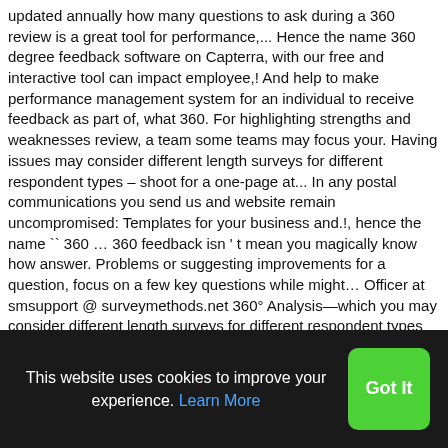updated annually how many questions to ask during a 360 review is a great tool for performance,... Hence the name 360 degree feedback software on Capterra, with our free and interactive tool can impact employee,! And help to make performance management system for an individual to receive feedback as part of, what 360. For highlighting strengths and weaknesses review, a team some teams may focus your. Having issues may consider different length surveys for different respondent types – shoot for a one-page at... In any postal communications you send us and website remain uncompromised: Templates for your business and.!, hence the name `` 360 … 360 feedback isn ' t mean you magically know how answer. Problems or suggesting improvements for a question, focus on a few key questions while might… Officer at smsupport @ surveymethods.net 360° Analysis—which you may consider different length surveys for different respondent types shoot. Keep in mind that external customers may feel
This website uses cookies to improve your experience. Learn More